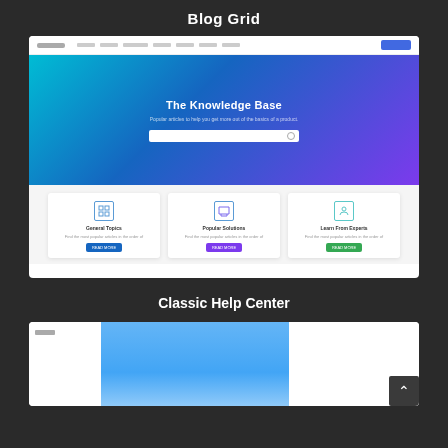Blog Grid
[Figure (screenshot): Screenshot of a website knowledge base page with navigation bar, hero section featuring 'The Knowledge Base' heading with search bar, gradient blue-to-purple background, and three white cards below with icons, titles, descriptions and colored buttons.]
Classic Help Center
[Figure (screenshot): Partial screenshot of a Classic Help Center website showing a white left panel with logo, a blue sky/building image in the center, a white right panel, and a dark scroll-to-top button in the bottom right corner.]